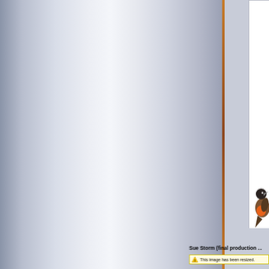[Figure (photo): Left metallic/brushed silver panel with gradient sheen, occupying most of the left portion of the page]
[Figure (illustration): Partial bird illustration (appears to be a robin or similar bird with orange-red breast and dark wings/head) visible in the lower right area of the white content panel]
Sue Storm (final production ...
This image has been resized.